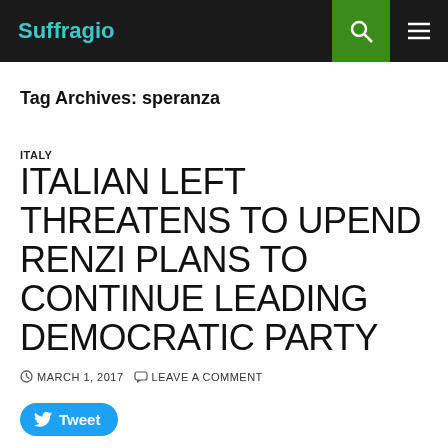Suffragio
Tag Archives: speranza
ITALY
ITALIAN LEFT THREATENS TO UPEND RENZI PLANS TO CONTINUE LEADING DEMOCRATIC PARTY
MARCH 1, 2017   LEAVE A COMMENT
Tweet